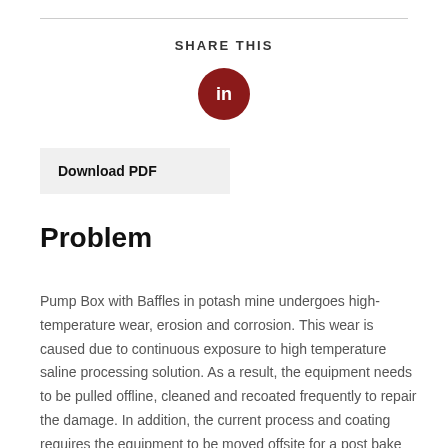SHARE THIS
[Figure (logo): LinkedIn logo circle button in dark red/maroon color with white 'in' text]
Download PDF
Problem
Pump Box with Baffles in potash mine undergoes high-temperature wear, erosion and corrosion. This wear is caused due to continuous exposure to high temperature saline processing solution. As a result, the equipment needs to be pulled offline, cleaned and recoated frequently to repair the damage. In addition, the current process and coating requires the equipment to be moved offsite for a post bake cure,